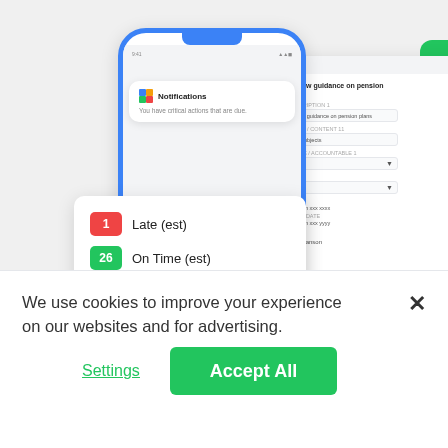[Figure (screenshot): Screenshot of a project management app showing a smartphone with a notifications card reading 'You have critical actions that are due', a desktop browser window with a task form ('Produce new guidance on pension plans'), and a status summary card showing: 1 Late (est), 26 On Time (est), 27 Need Updating. A green side panel is visible on the right.]
We use cookies to improve your experience on our websites and for advertising.
Settings
Accept All